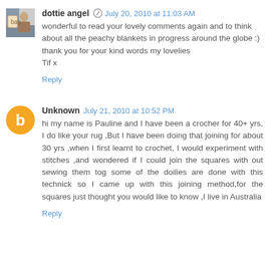dottie angel · July 20, 2010 at 11:03 AM
wonderful to read your lovely comments again and to think about all the peachy blankets in progress around the globe :)
thank you for your kind words my lovelies
Tif x
Reply
Unknown · July 21, 2010 at 10:52 PM
hi my name is Pauline and I have been a crocher for 40+ yrs, I do like your rug ,But I have been doing that joining for about 30 yrs ,when I first learnt to crochet, I would experiment with stitches ,and wondered if I could join the squares with out sewing them tog some of the doilies are done with this technick so I came up with this joining method,for the squares just thought you would like to know ,I live in Australia
Reply